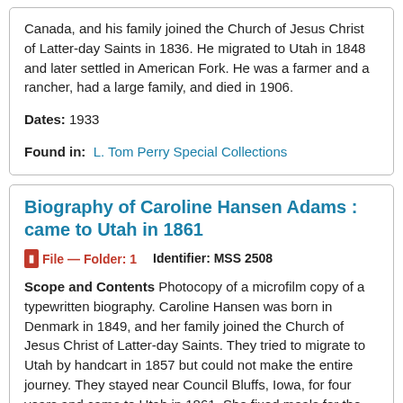Canada, and his family joined the Church of Jesus Christ of Latter-day Saints in 1836. He migrated to Utah in 1848 and later settled in American Fork. He was a farmer and a rancher, had a large family, and died in 1906.
Dates: 1933
Found in: L. Tom Perry Special Collections
Biography of Caroline Hansen Adams : came to Utah in 1861
File — Folder: 1    Identifier: MSS 2508
Scope and Contents Photocopy of a microfilm copy of a typewritten biography. Caroline Hansen was born in Denmark in 1849, and her family joined the Church of Jesus Christ of Latter-day Saints. They tried to migrate to Utah by handcart in 1857 but could not make the entire journey. They stayed near Council Bluffs, Iowa, for four years and came to Utah in 1861. She fixed meals for the second president of the Mormon Church, Brigham Young, and later settled in American Fork. She married Jos. Adams and died in